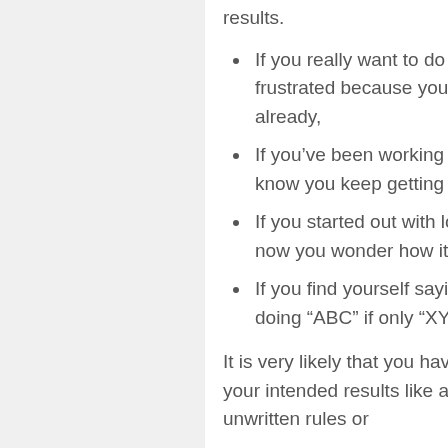results.
If you really want to do something in any of your life areas but you're frustrated because you just don't know why you are not doing it already,
If you've been working so hard to reach a purposeful goal but you know you keep getting in your own way,
If you started out with loads of enthusiasm for that fantastic idea and now you wonder how it was replaced with overwhelm,
If you find yourself saying that you “Should” or “Could” or “Would” be doing “ABC” if only “XYZ” wasn't so
It is very likely that you have underlying beliefs that are directly blocking your intended results like an All-Pro NFL Linebacker. These beliefs are the unwritten rules or